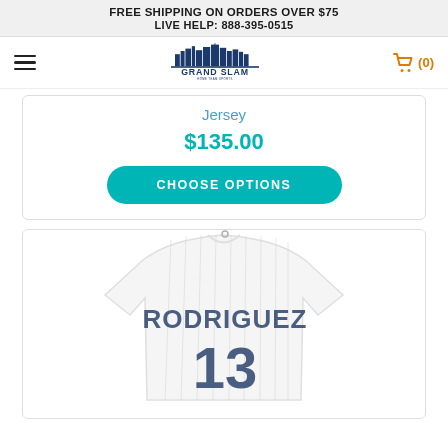FREE SHIPPING ON ORDERS OVER $75
LIVE HELP: 888-395-0515
[Figure (logo): Grand Slam store logo with city skyline and baseball diamond]
Jersey
$135.00
CHOOSE OPTIONS
[Figure (photo): White pinstripe baseball jersey with RODRIGUEZ name and number 13 on the back]